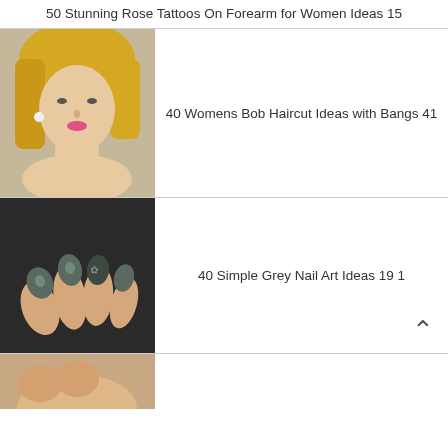50 Stunning Rose Tattoos On Forearm for Women Ideas 15
[Figure (photo): Woman with blonde bob haircut posing with hand near chin]
40 Womens Bob Haircut Ideas with Bangs 41
[Figure (photo): Close-up of hands with metallic grey nail art on dark background]
40 Simple Grey Nail Art Ideas 19 1
[Figure (photo): Partial view of another image at bottom of page]